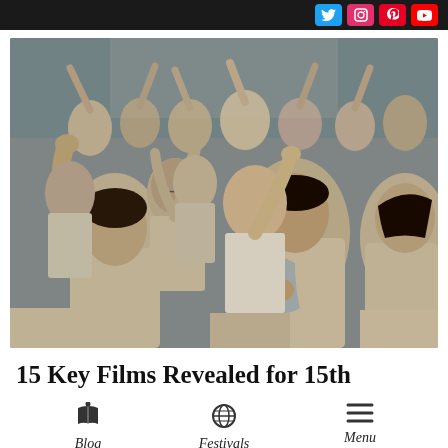Social media icons: Twitter, Instagram, Pinterest, YouTube
[Figure (photo): A crowd of Filipino people dressed in white, many with arms raised and eyes closed, appearing to be in a religious worship or prayer gathering. A man in the center background looks forward calmly.]
15 Key Films Revealed for 15th
Blog | Festivals | Menu navigation icons